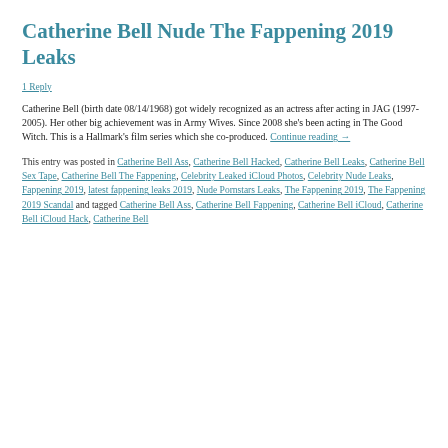Catherine Bell Nude The Fappening 2019 Leaks
1 Reply
Catherine Bell (birth date 08/14/1968) got widely recognized as an actress after acting in JAG (1997-2005). Her other big achievement was in Army Wives. Since 2008 she’s been acting in The Good Witch. This is a Hallmark’s film series which she co-produced. Continue reading →
This entry was posted in Catherine Bell Ass, Catherine Bell Hacked, Catherine Bell Leaks, Catherine Bell Sex Tape, Catherine Bell The Fappening, Celebrity Leaked iCloud Photos, Celebrity Nude Leaks, Fappening 2019, latest fappening leaks 2019, Nude Pornstars Leaks, The Fappening 2019, The Fappening 2019 Scandal and tagged Catherine Bell Ass, Catherine Bell Fappening, Catherine Bell iCloud, Catherine Bell iCloud Hack, Catherine Bell